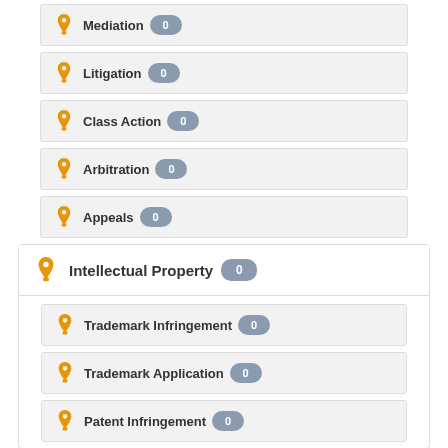Mediation 0
Litigation 0
Class Action 0
Arbitration 0
Appeals 0
Intellectual Property 0
Trademark Infringement 0
Trademark Application 0
Patent Infringement 0